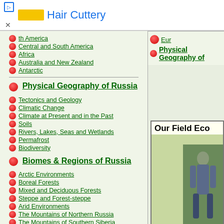[Figure (other): Advertisement banner for Hair Cuttery with yellow logo box and blue text]
th America
Central and South America
Africa
Australia and New Zealand
Antarctic
Eur... (partially visible)
Physical Geography of... (partially visible)
Physical Geography of Russia
Tectonics and Geology
Climatic Change
Climate at Present and in the Past
Soils
Rivers, Lakes, Seas and Wetlands
Permafrost
Biodiversity
Biomes & Regions of Russia
Arctic Environments
Boreal Forests
Mixed and Deciduous Forests
Steppe and Forest-steppe
Arid Environments
The Mountains of Northern Russia
The Mountains of Southern Siberia
The Caucasus
The Mountains of Central Asia
[Figure (photo): Our Field Eco... panel with person standing outdoors holding items]